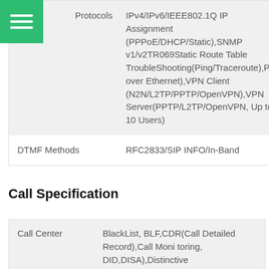| Feature | Value |
| --- | --- |
| Protocols | IPv4/IPv6/IEEE802.1Q IP Assignment (PPPoE/DHCP/Static),SNMPv1/v2TR069Static Route Table TroubleShooting(Ping/Traceroute),Power over Ethernet),VPN Client (N2N/L2TP/PPTP/OpenVPN),VPN Server(PPTP/L2TP/OpenVPN, Up to 10 Users) |
| DTMF Methods | RFC2833/SIP INFO/In-Band |
Call Specification
| Feature | Value |
| --- | --- |
| Call Center | BlackList, BLF,CDR(Call Detailed Record),Call Monitoring, DID,DISA),Distinctive Ringtone,DND,DNIS,Feature |